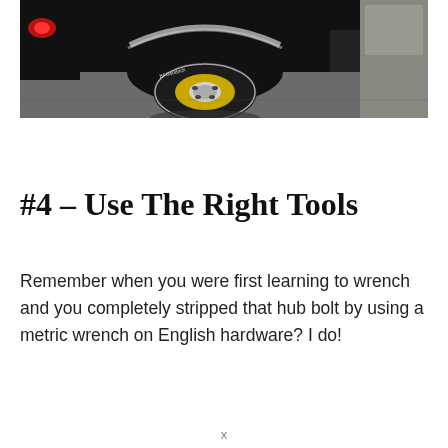[Figure (photo): Photo of a dark-colored SUV/truck in a garage, showing the front wheel with an aftermarket gold/chrome wheel and BFGoodrich tire, with a red tail light visible on the left and another vehicle partially visible on the right.]
#4 – Use The Right Tools
Remember when you were first learning to wrench and you completely stripped that hub bolt by using a metric wrench on English hardware? I do!
x